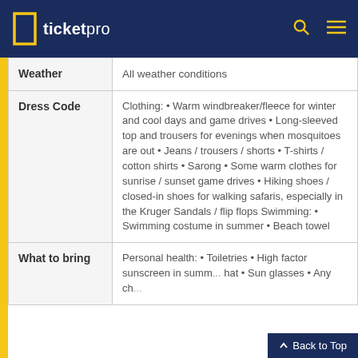ticketpro
|  |  |
| --- | --- |
| Weather | All weather conditions |
| Dress Code | Clothing: • Warm windbreaker/fleece for winter and cool days and game drives • Long-sleeved top and trousers for evenings when mosquitoes are out • Jeans / trousers / shorts • T-shirts / cotton shirts • Sarong • Some warm clothes for sunrise / sunset game drives • Hiking shoes / closed-in shoes for walking safaris, especially in the Kruger Sandals / flip flops Swimming: • Swimming costume in summer • Beach towel |
| What to bring | Personal health: • Toiletries • High factor sunscreen in summ... hat • Sun glasses • Any ch... |